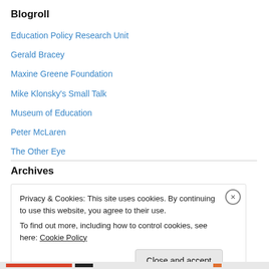Blogroll
Education Policy Research Unit
Gerald Bracey
Maxine Greene Foundation
Mike Klonsky's Small Talk
Museum of Education
Peter McLaren
The Other Eye
Archives
Privacy & Cookies: This site uses cookies. By continuing to use this website, you agree to their use.
To find out more, including how to control cookies, see here: Cookie Policy
Close and accept